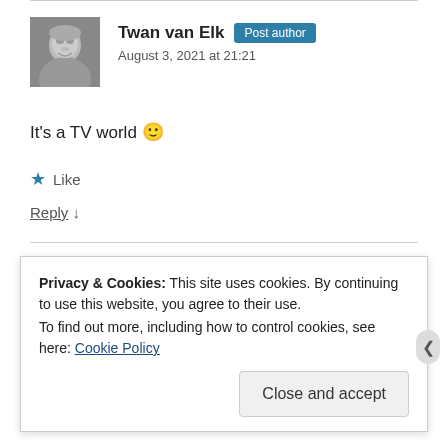[Figure (photo): Black and white avatar photo of Twan van Elk, a person with short hair]
Twan van Elk  Post author
August 3, 2021 at 21:21
It's a TV world 🙂
★ Like
Reply ↓
Privacy & Cookies: This site uses cookies. By continuing to use this website, you agree to their use.
To find out more, including how to control cookies, see here: Cookie Policy
Close and accept